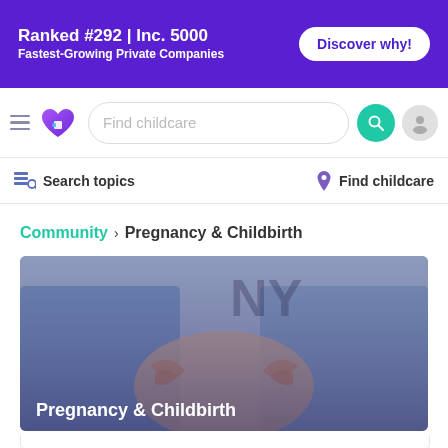Ranked #292 | Inc. 5000 – Fastest-Growing Private Companies – Discover why!
[Figure (screenshot): Navigation bar with hamburger menu, heart logo, search bar reading 'Find childcare', teal search button, and user avatar]
Search topics    Find childcare
Community › Pregnancy & Childbirth
[Figure (photo): Two people forming a heart shape with their hands over a pregnant belly, wearing denim jackets, outdoors. Image has a purple-tinted overlay with white text 'Pregnancy & Childbirth' at bottom left.]